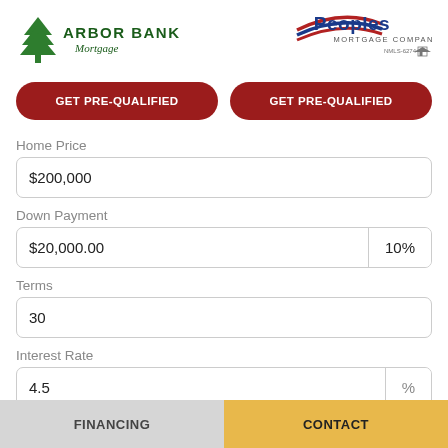[Figure (logo): Arbor Bank Mortgage logo with green tree icon and green text]
[Figure (logo): Peoples Mortgage Company logo with red and blue swoosh and NMLS-6274]
GET PRE-QUALIFIED
GET PRE-QUALIFIED
Home Price
$200,000
Down Payment
$20,000.00
10%
Terms
30
Interest Rate
4.5
%
FINANCING    CONTACT